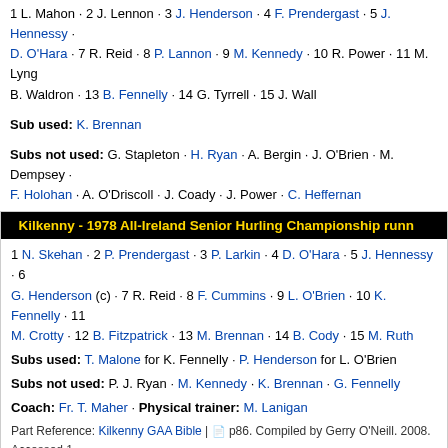1 L. Mahon · 2 J. Lennon · 3 J. Henderson · 4 F. Prendergast · 5 J. Hennessy · 6 D. O'Hara · 7 R. Reid · 8 P. Lannon · 9 M. Kennedy · 10 R. Power · 11 M. Lyng · B. Waldron · 13 B. Fennelly · 14 G. Tyrrell · 15 J. Wall
Sub used: K. Brennan
Subs not used: G. Stapleton · H. Ryan · A. Bergin · J. O'Brien · M. Dempsey · F. Holohan · A. O'Driscoll · J. Coady · J. Power · C. Heffernan
Kilkenny - 1978 All-Ireland Senior Hurling Championship runn...
1 N. Skehan · 2 P. Prendergast · 3 P. Larkin · 4 D. O'Hara · 5 J. Hennessy · 6 G. Henderson (c) · 7 R. Reid · 8 F. Cummins · 9 L. O'Brien · 10 K. Fennelly · 11 M. Crotty · 12 B. Fitzpatrick · 13 M. Brennan · 14 B. Cody · 15 M. Ruth
Subs used: T. Malone for K. Fennelly · P. Henderson for L. O'Brien
Subs not used: P. J. Ryan · M. Kennedy · K. Brennan · G. Fennelly
Coach: Fr. T. Maher · Physical trainer: M. Lanigan
Part Reference: Kilkenny GAA Bible | p86. Compiled by Gerry O'Neill. 2008. Accessed 17 2010.
Kilkenny - 1979 All-Ireland Senior Hurling Champions (21st t...
1 N. Skehan · 2 P. Larkin · 3 P. Prendergast · 4 J. Henderson · 5 R. Reid · 6 G. Henderson · 7 N. Brennan · 8 J. Hennessy · 9 F. Cummins · 10 G. Fennelly · B. Fitzpatrick · 12 L. O'Brien · 13 M. Brennan · 14 M. Crotty · 15 M. Ruth
Subs used: D. O'Hara for P. Prendergast · K. Fennelly for M. Crotty
Subs not used: P. J. Ryan · M. Mason · M. Kennedy · P. Moran · T. Malone · J. ...